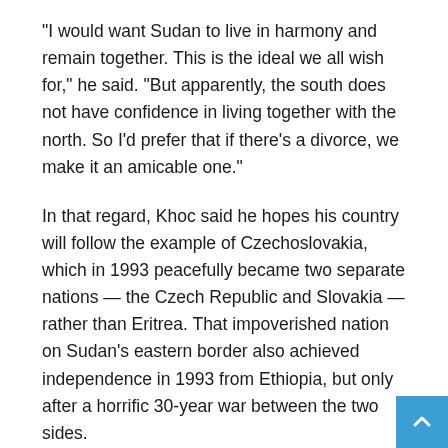“I would want Sudan to live in harmony and remain together. This is the ideal we all wish for,” he said. “But apparently, the south does not have confidence in living together with the north. So I’d prefer that if there’s a divorce, we make it an amicable one.”
In that regard, Khoc said he hopes his country will follow the example of Czechoslovakia, which in 1993 peacefully became two separate nations — the Czech Republic and Slovakia — rather than Eritrea. That impoverished nation on Sudan’s eastern border also achieved independence in 1993 from Ethiopia, but only after a horrific 30-year war between the two sides.
“This is what we do not want to see,” he said. “All sides are working to avoid a resumption of the conflict and a waste of human resources. We’re already discussing the post-